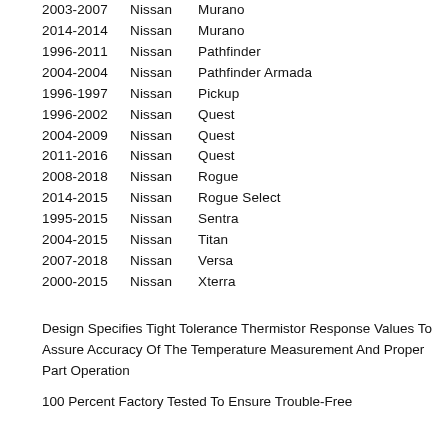2003-2007 Nissan Murano
2014-2014 Nissan Murano
1996-2011 Nissan Pathfinder
2004-2004 Nissan Pathfinder Armada
1996-1997 Nissan Pickup
1996-2002 Nissan Quest
2004-2009 Nissan Quest
2011-2016 Nissan Quest
2008-2018 Nissan Rogue
2014-2015 Nissan Rogue Select
1995-2015 Nissan Sentra
2004-2015 Nissan Titan
2007-2018 Nissan Versa
2000-2015 Nissan Xterra
Design Specifies Tight Tolerance Thermistor Response Values To Assure Accuracy Of The Temperature Measurement And Proper Part Operation
100 Percent Factory Tested To Ensure Trouble-Free